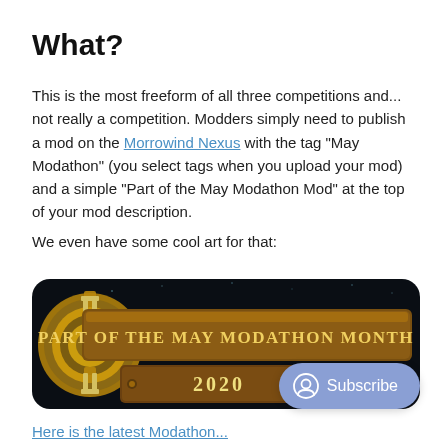What?
This is the most freeform of all three competitions and... not really a competition. Modders simply need to publish a mod on the Morrowind Nexus with the tag "May Modathon" (you select tags when you upload your mod) and a simple "Part of the May Modathon Mod" at the top of your mod description.
We even have some cool art for that:
[Figure (illustration): A decorative banner image styled like a fantasy/RPG emblem reading 'Part of the May Modathon Month 2020' with a gear/compass medallion on the left, gold text on a dark textured background.]
Here is the latest Modathon...